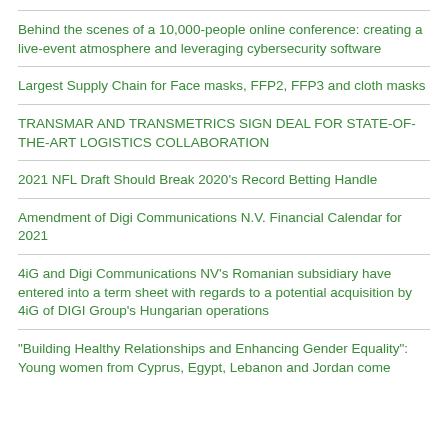Behind the scenes of a 10,000-people online conference: creating a live-event atmosphere and leveraging cybersecurity software
Largest Supply Chain for Face masks, FFP2, FFP3 and cloth masks
TRANSMAR AND TRANSMETRICS SIGN DEAL FOR STATE-OF-THE-ART LOGISTICS COLLABORATION
2021 NFL Draft Should Break 2020's Record Betting Handle
Amendment of Digi Communications N.V. Financial Calendar for 2021
4iG and Digi Communications NV's Romanian subsidiary have entered into a term sheet with regards to a potential acquisition by 4iG of DIGI Group's Hungarian operations
“Building Healthy Relationships and Enhancing Gender Equality”: Young women from Cyprus, Egypt, Lebanon and Jordan come